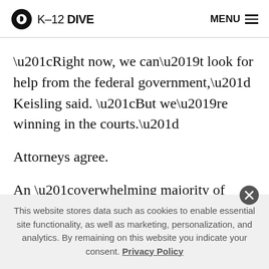K-12 DIVE  MENU
“Right now, we can’t look for help from the federal government,” Keisling said. “But we’re winning in the courts.”
Attorneys agree.
An “overwhelming majority of lower courts” have found school districts barring students from using bathrooms or facilities aligning with their gender identity are violating
This website stores data such as cookies to enable essential site functionality, as well as marketing, personalization, and analytics. By remaining on this website you indicate your consent. Privacy Policy